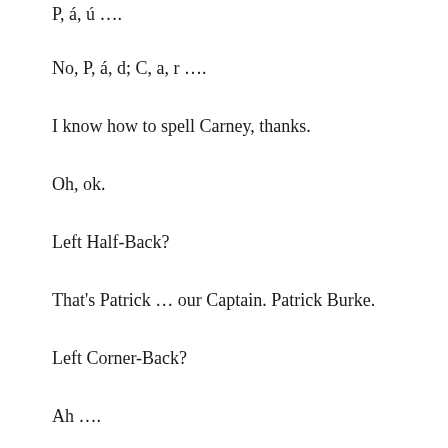P, á, ú ….
No, P, á, d; C, a, r ….
I know how to spell Carney, thanks.
Oh, ok.
Left Half-Back?
That's Patrick … our Captain. Patrick Burke.
Left Corner-Back?
Ah ….